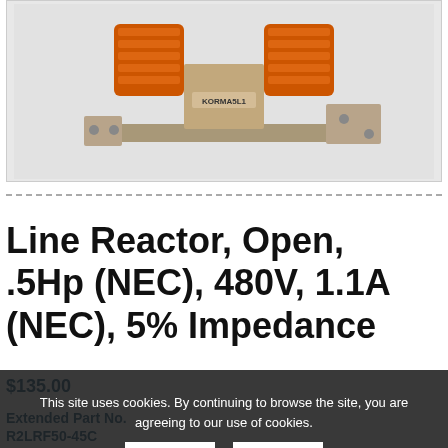[Figure (photo): Photo of a Line Reactor component (open type, three-phase inductor coils on metal bracket, labeled KORMA5L1) on a light gray background.]
Line Reactor, Open, .5Hp (NEC), 480V, 1.1A (NEC), 5% Impedance
$135.00
Extended Part No.
R2LRF50-45C
This site uses cookies. By continuing to browse the site, you are agreeing to our use of cookies.